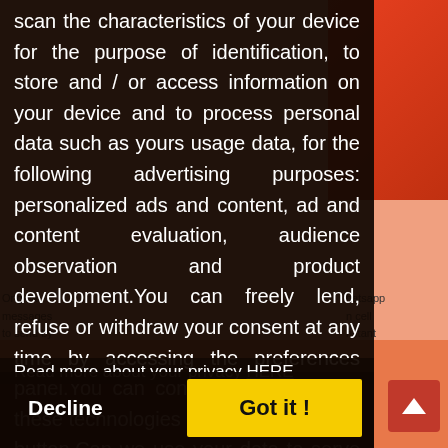[Figure (screenshot): Cookie consent overlay dialog on a webpage. The overlay shows a privacy/consent message about scanning device characteristics, storing/accessing device information, and processing personal data for advertising purposes including personalized ads, content evaluation, audience observation and product development. It includes a 'Read more about your privacy HERE' link, and two buttons: 'Decline' (left) and 'Got it!' (right, yellow background). Behind the overlay, partially visible page content shows text about WhatsApp messages and a person in a red outfit.]